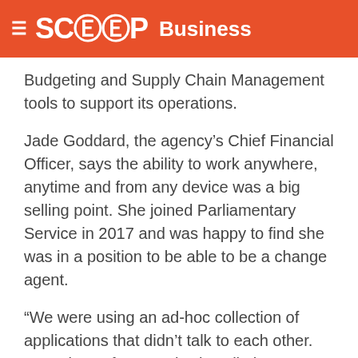SCOOP Business
Budgeting and Supply Chain Management tools to support its operations.
Jade Goddard, the agency’s Chief Financial Officer, says the ability to work anywhere, anytime and from any device was a big selling point. She joined Parliamentary Service in 2017 and was happy to find she was in a position to be able to be a change agent.
“We were using an ad-hoc collection of applications that didn’t talk to each other. Our Microsoft Dynamics installation was behind where you would expect a modern system to be and it was all on-premise, with all